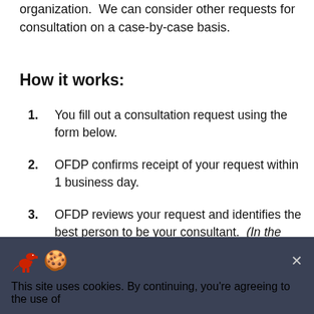organization.  We can consider other requests for consultation on a case-by-case basis.
How it works:
1. You fill out a consultation request using the form below.
2. OFDP confirms receipt of your request within 1 business day.
3. OFDP reviews your request and identifies the best person to be your consultant.  (In the event the needs you describe are outside the expertise of OFDP, we will connect you with the right person outside our unit.)
4. You have your one-hour consultation, after which you will leave with concrete options to move your
This site uses cookies. By continuing, you're agreeing to the use of